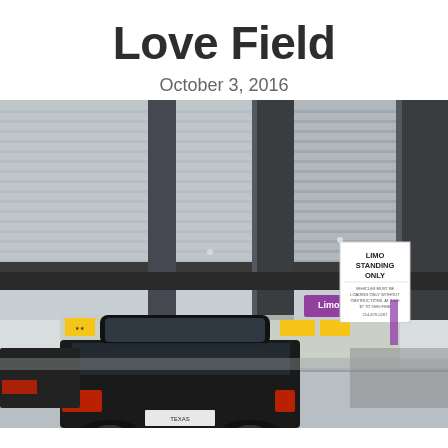Love Field
October 3, 2016
[Figure (photo): Photograph taken at Dallas Love Field airport showing the covered arrival/departure curb area. Large concrete columns support a ribbed metal ceiling canopy. A black SUV is visible in the foreground with its brake lights on. In the background is a purple 'Limousines' sign with a car icon. On the right side is a white sign reading 'LIMO STANDING ONLY' with additional text below. The outdoor area shows terminal structures and yellow taxi/vehicle signage in the distance.]